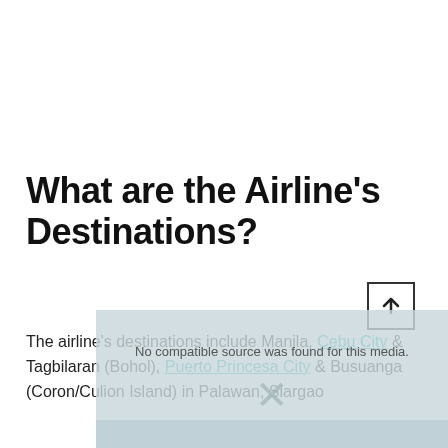What are the Airline's Destinations?
The airline's destinations include Manila, Cebu City & Tagbilaran (Bohol), Puerto Princesa City & Busuanga (Coron/Culion Island) in Palawan, Siargao
[Figure (screenshot): Video player overlay showing 'No compatible source was found for this media.' message with a close X button, and a scroll-to-top arrow button in the top right corner.]